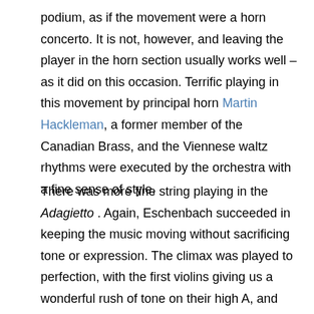podium, as if the movement were a horn concerto. It is not, however, and leaving the player in the horn section usually works well – as it did on this occasion. Terrific playing in this movement by principal horn Martin Hackleman, a former member of the Canadian Brass, and the Viennese waltz rhythms were executed by the orchestra with a fine sense of style.
There was more fine string playing in the Adagietto . Again, Eschenbach succeeded in keeping the music moving without sacrificing tone or expression. The climax was played to perfection, with the first violins giving us a wonderful rush of tone on their high A, and basses ending the downward pattern with equally full tone on their low G resolving to F. There is a lot going on in these magnificent final bars and only the best conductors manage to sort it out as well as Eschenbach did. Incidentally, Mahler writes “attacca” at the end of this movement, meaning that the conductor should begin the next